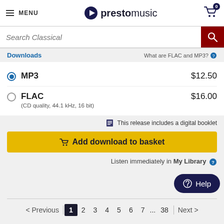MENU | prestomusic | cart: 0
Search Classical
Downloads | What are FLAC and MP3?
MP3  $12.50
FLAC  $16.00
(CD quality, 44.1 kHz, 16 bit)
This release includes a digital booklet
Add download to basket
Listen immediately in My Library
< Previous  1  2  3  4  5  6  7  ...  38  Next >
Help